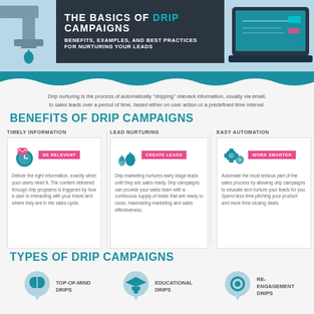The Basics of Drip Campaigns
Benefits, Examples, and Best Practices for Nurturing Your Leads
Drip nurturing is the process of automatically "dripping" relevant information, usually via email, to sales leads over a period of time, based either on user action or a predefined time interval.
Benefits of Drip Campaigns
Timely Information
BE RELEVANT
Deliver the right information, exactly when your users need it. The content delivered through drip programs is triggered by how a user is interacting with your brand and where they are in the sales cycle.
Lead Nurturing
CREATE LEADS
Drip marketing nurtures early stage leads until they are sales ready. Drip campaigns can provide your sales team with a continuous supply of leads that are ready to close, maximizing marketing and sales effectiveness.
Easy Automation
WORK SMARTER
Automate the most tedious part of the sales process by allowing drip campaigns to educate and nurture your leads for you. Spend less time pitching your product and more time closing deals.
Types of Drip Campaigns
Top-of-Mind Drips
Educational Drips
Re-Engagement Drips